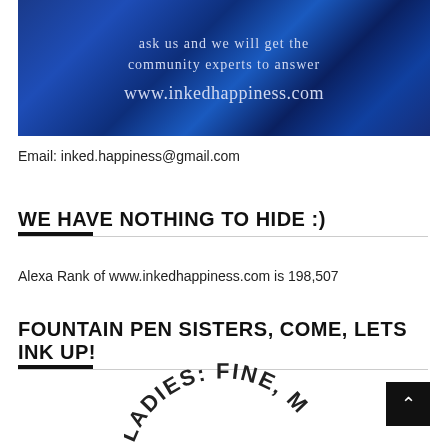[Figure (photo): Blue textured banner with text 'ask us and we will get the community experts to answer' and 'www.inkedhappiness.com']
Email: inked.happiness@gmail.com
WE HAVE NOTHING TO HIDE :)
Alexa Rank of www.inkedhappiness.com is 198,507
FOUNTAIN PEN SISTERS, COME, LETS INK UP!
[Figure (photo): Partial circular text reading 'LADIES: FINE, M...' at the bottom of the page]